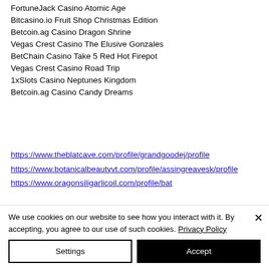FortuneJack Casino Atomic Age
Bitcasino.io Fruit Shop Christmas Edition
Betcoin.ag Casino Dragon Shrine
Vegas Crest Casino The Elusive Gonzales
BetChain Casino Take 5 Red Hot Firepot
Vegas Crest Casino Road Trip
1xSlots Casino Neptunes Kingdom
Betcoin.ag Casino Candy Dreams
https://www.theblatcave.com/profile/grandgoodej/profile
https://www.botanicalbeautyvt.com/profile/assingreavesk/profile
https://www.oragonsiligarlicoil.com/profile/bat...
We use cookies on our website to see how you interact with it. By accepting, you agree to our use of such cookies. Privacy Policy